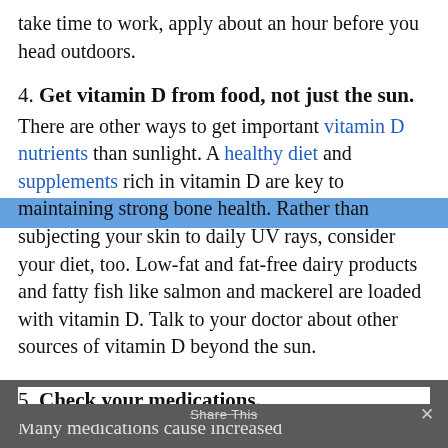take time to work, apply about an hour before you head outdoors.
4. Get vitamin D from food, not just the sun.
There are other ways to get important vitamin D nutrients than sunlight. A healthy diet and supplements rich in vitamin D are key to maintaining strong bone health. Rather than subjecting your skin to daily UV rays, consider your diet, too. Low-fat and fat-free dairy products and fatty fish like salmon and mackerel are loaded with vitamin D. Talk to your doctor about other sources of vitamin D beyond the sun.
5. Check your medications.
Many medications cause increased